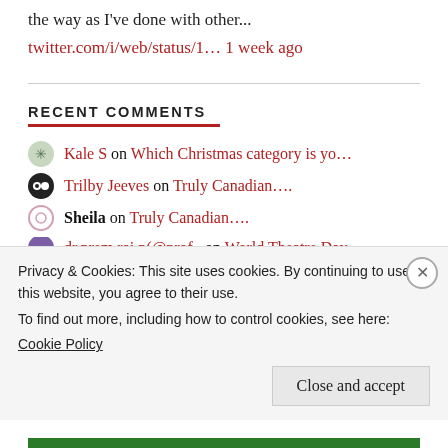the way as I've done with other...
twitter.com/i/web/status/1… 1 week ago
RECENT COMMENTS
Kale S on Which Christmas category is yo...
Trilby Jeeves on Truly Canadian....
Sheila on Truly Canadian....
dr.prem.rai.p(@prof_ on World Theatre Day
Privacy & Cookies: This site uses cookies. By continuing to use this website, you agree to their use.
To find out more, including how to control cookies, see here: Cookie Policy
Close and accept